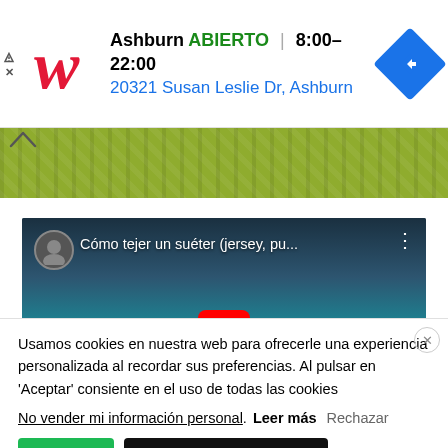[Figure (screenshot): Walgreens advertisement banner showing store in Ashburn, ABIERTO (open) 8:00–22:00, address 20321 Susan Leslie Dr, Ashburn, with Walgreens logo and navigation icon]
[Figure (photo): Green/yellow knitted yarn texture strip with chevron-up icon]
[Figure (screenshot): YouTube video thumbnail titled 'Cómo tejer un suéter (jersey, pu...' with red play button]
Usamos cookies en nuestra web para ofrecerle una experiencia personalizada al recordar sus preferencias. Al pulsar en 'Aceptar' consiente en el uso de todas las cookies
No vender mi información personal. Leer más Rechazar
Aceptar  Configuración de cookies